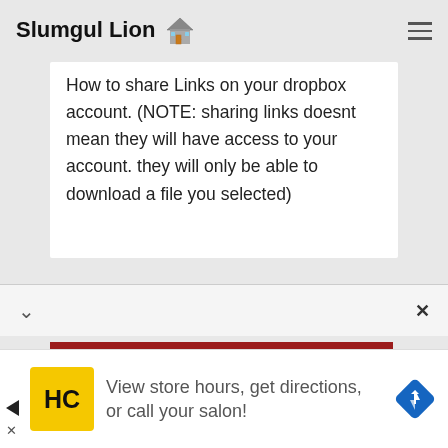Slumgul Lion 🏠
How to share Links on your dropbox account. (NOTE: sharing links doesnt mean they will have access to your account. they will only be able to download a file you selected)
View store hours, get directions, or call your salon!